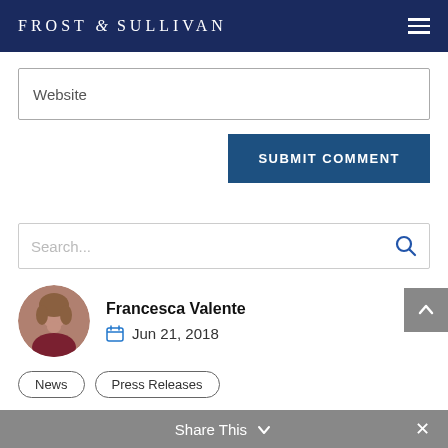FROST & SULLIVAN
Website
SUBMIT COMMENT
Search...
Francesca Valente
Jun 21, 2018
News
Press Releases
Share This